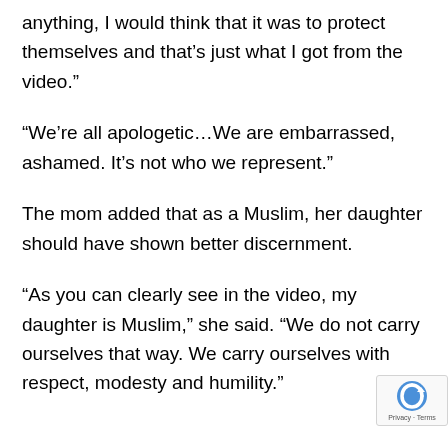anything, I would think that it was to protect themselves and that’s just what I got from the video.”
“We’re all apologetic…We are embarrassed, ashamed. It’s not who we represent.”
The mom added that as a Muslim, her daughter should have shown better discernment.
“As you can clearly see in the video, my daughter is Muslim,” she said. “We do not carry ourselves that way. We carry ourselves with respect, modesty and humility.”